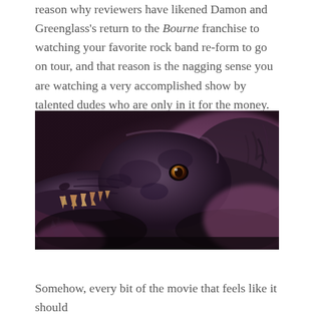reason why reviewers have likened Damon and Greenglass's return to the Bourne franchise to watching your favorite rock band re-form to go on tour, and that reason is the nagging sense you are watching a very accomplished show by talented dudes who are only in it for the money.
[Figure (photo): Close-up photograph of a dark, textured creature/monster face with open mouth showing teeth, amber eye visible, against a blurred pinkish-purple background. Appears to be a movie creature/prop.]
Somehow, every bit of the movie that feels like it should